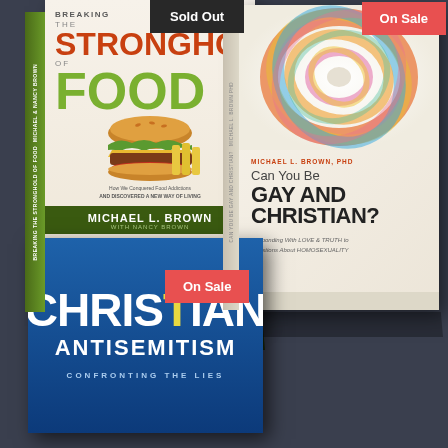[Figure (photo): Book cover: Breaking the Stronghold of Food by Michael L. Brown with Nancy Brown. Shows burger and fries image. Has a 'Sold Out' badge.]
[Figure (photo): Book cover: Can You Be Gay and Christian? by Michael L. Brown PhD. Shows colorful swirl design. Has an 'On Sale' badge.]
[Figure (photo): Book cover: Christian Antisemitism - Confronting the Lies. Blue cover with large white bold text. Has an 'On Sale' badge.]